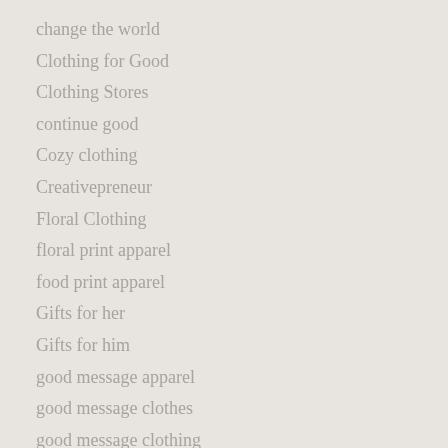change the world
Clothing for Good
Clothing Stores
continue good
Cozy clothing
Creativepreneur
Floral Clothing
floral print apparel
food print apparel
Gifts for her
Gifts for him
good message apparel
good message clothes
good message clothing
happy stories